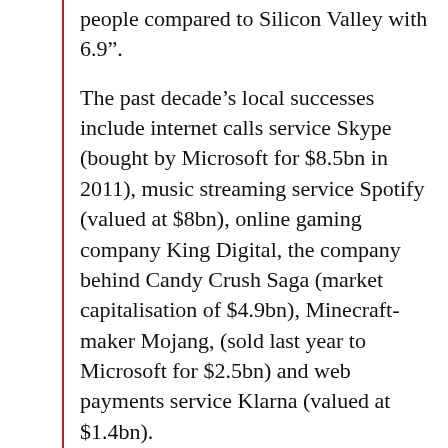people compared to Silicon Valley with 6.9”.
The past decade’s local successes include internet calls service Skype (bought by Microsoft for $8.5bn in 2011), music streaming service Spotify (valued at $8bn), online gaming company King Digital, the company behind Candy Crush Saga (market capitalisation of $4.9bn), Minecraft-maker Mojang, (sold last year to Microsoft for $2.5bn) and web payments service Klarna (valued at $1.4bn).